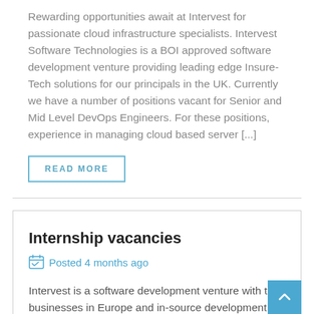Rewarding opportunities await at Intervest for passionate cloud infrastructure specialists. Intervest Software Technologies is a BOI approved software development venture providing leading edge Insure-Tech solutions for our principals in the UK. Currently we have a number of positions vacant for Senior and Mid Level DevOps Engineers. For these positions, experience in managing cloud based server [...]
READ MORE
Internship vacancies
Posted 4 months ago
Intervest is a software development venture with the businesses in Europe and in-source development centre in Sri Lanka. We specialize in the development of multi-product, multi-currency e-Commerce